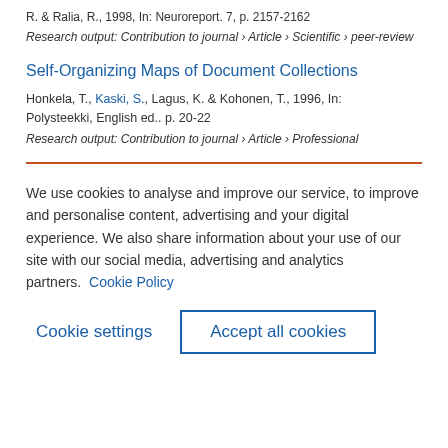R. & Ralia, R., 1998, In: Neuroreport. 7, p. 2157-2162
Research output: Contribution to journal › Article › Scientific › peer-review
Self-Organizing Maps of Document Collections
Honkela, T., Kaski, S., Lagus, K. & Kohonen, T., 1996, In: Polysteekki, English ed.. p. 20-22
Research output: Contribution to journal › Article › Professional
We use cookies to analyse and improve our service, to improve and personalise content, advertising and your digital experience. We also share information about your use of our site with our social media, advertising and analytics partners.  Cookie Policy
Cookie settings
Accept all cookies